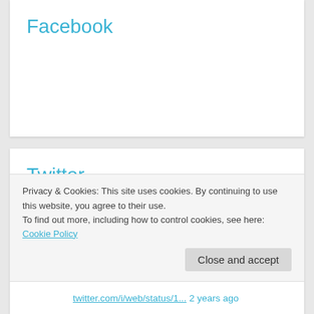Facebook
Twitter
Ha sido un placer trabajar y disfrutar años maravillosos con todos ustedes. Seguiremos
Privacy & Cookies: This site uses cookies. By continuing to use this website, you agree to their use.
To find out more, including how to control cookies, see here:
Cookie Policy
Close and accept
twitter.com/i/web/status/1...  2 years ago